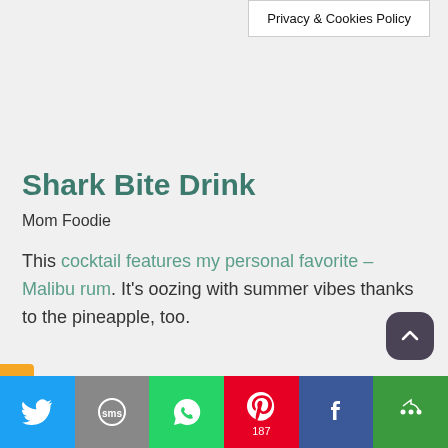Privacy & Cookies Policy
Shark Bite Drink
Mom Foodie
This cocktail features my personal favorite – Malibu rum. It's oozing with summer vibes thanks to the pineapple, too.
Twitter | SMS | WhatsApp | Pinterest 187 | Facebook | More